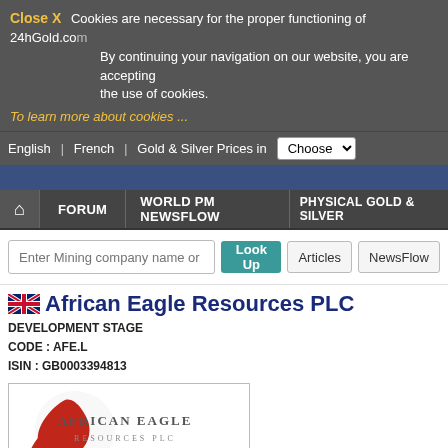Close X  Cookies are necessary for the proper functioning of 24hGold.com. By continuing your navigation on our website, you are accepting the use of cookies.
To learn more about cookies ...
English  French  Gold & Silver Prices in  Choose
FORUM  WORLD PM NEWSFLOW  PHYSICAL GOLD & SILVER
Enter Mining company name or Symbol
African Eagle Resources PLC
DEVELOPMENT STAGE
CODE : AFE.L
ISIN : GB0003394813
[Figure (logo): African Eagle Resources PLC logo — red eagle on white background with company name]
|  | LSE (AFE.L) | BERLIN (EB1.SE) |
| --- | --- | --- |
| LSE GBX 0.280 08/11 07:30 - 0% | 0.280  +0.00% | 0.013  +0.00% |
|  | Prev close | Open |
|  | 0.280 | 0.280 |
|  | Year l/h | YTD var. |
|  | - | - |